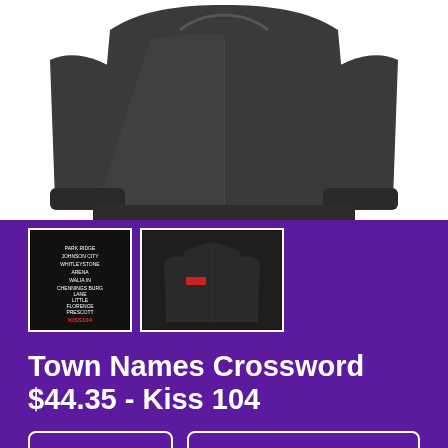[Figure (photo): Main product image showing a dark gray zip-up hoodie from front, back and sleeve views on white background]
[Figure (photo): Thumbnail 1: small black image with crossword town names text]
[Figure (photo): Thumbnail 2: dark zip-up hoodie product photo]
Town Names Crossword  $44.35 - Kiss 104
Men's dropdown selector
Zip-Up Hoody dropdown selector
SELECT YOUR FIT
$44.35
French Terry